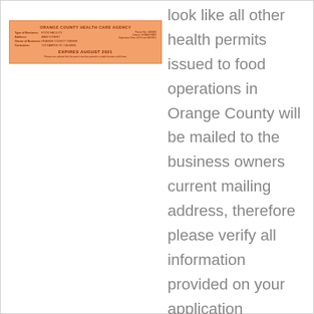[Figure (other): Orange health permit card showing fields for Type of Business, Address of Business, Owner, Contractor, with EXPIRES AUGUST 2021 printed prominently. Card has orange/salmon background with dark red text.]
look like all other health permits issued to food operations in Orange County will be mailed to the business owners current mailing address, therefore please verify all information provided on your application submittal is accurate. The state health